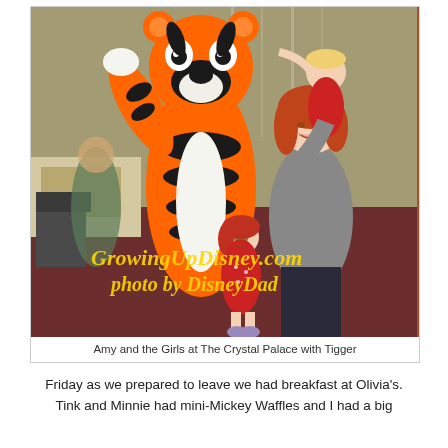[Figure (photo): A woman (Amy) holding a toddler in a red dress, standing next to the Tigger character mascot at The Crystal Palace. A young girl in a red dress stands in front. The photo has a watermark reading 'GrowingUpDisney.com photo by DisneyDad' in yellow italic text.]
Amy and the Girls at The Crystal Palace with Tigger
Friday as we prepared to leave we had breakfast at Olivia's. Tink and Minnie had mini-Mickey Waffles and I had a big